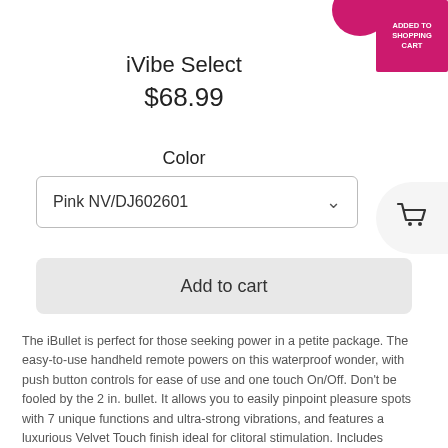[Figure (photo): Pink rounded product (iBullet vibrator) partially visible at top right]
[Figure (other): Magenta/pink square badge with white text in top right corner]
iVibe Select
$68.99
Color
Pink NV/DJ602601
Add to cart
The iBullet is perfect for those seeking power in a petite package. The easy-to-use handheld remote powers on this waterproof wonder, with push button controls for ease of use and one touch On/Off. Don't be fooled by the 2 in. bullet. It allows you to easily pinpoint pleasure spots with 7 unique functions and ultra-strong vibrations, and features a luxurious Velvet Touch finish ideal for clitoral stimulation. Includes magnetic storage box with removable outer sleeve. Requires 2 AAA batteries.
[Figure (illustration): Shopping cart icon in a rounded white/gray circle on the right side]